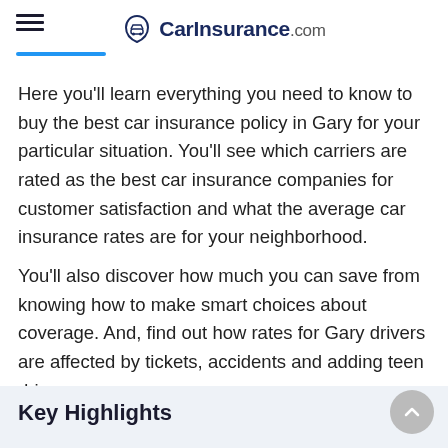CarInsurance.com
Here you'll learn everything you need to know to buy the best car insurance policy in Gary for your particular situation. You'll see which carriers are rated as the best car insurance companies for customer satisfaction and what the average car insurance rates are for your neighborhood.
You'll also discover how much you can save from knowing how to make smart choices about coverage. And, find out how rates for Gary drivers are affected by tickets, accidents and adding teen drivers.
Key Highlights